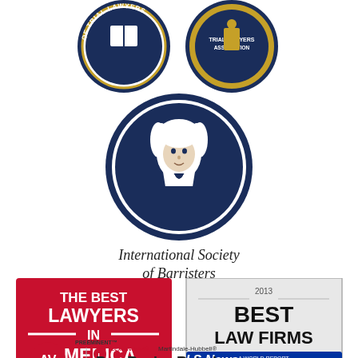[Figure (logo): Two circular organization seals/badges at top: left seal reads 'OF TRIAL LAWYERS' with book/scales imagery in navy and gold; right seal reads 'TRIAL LAWYERS ASSOCIATION' in navy and gold]
[Figure (logo): Circular seal of the International Society of Barristers featuring a portrait of a bewigged barrister in navy blue and white]
International Society of Barristers
[Figure (logo): The Best Lawyers in America red square badge with white text]
[Figure (logo): 2013 Best Law Firms badge with U.S. News & World Report and Best Lawyers branding in shield shape]
[Figure (logo): AV Preeminent rating badge with LexisNexis Martindale-Hubbell Peer Review Rated logo at bottom]